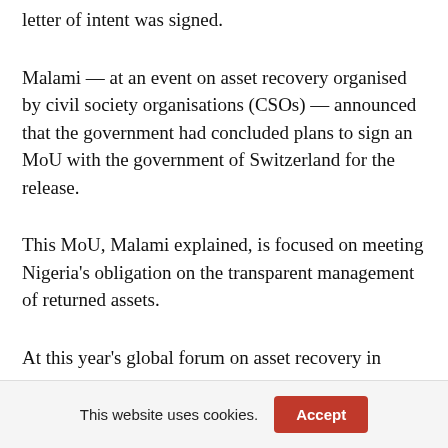letter of intent was signed.
Malami — at an event on asset recovery organised by civil society organisations (CSOs) — announced that the government had concluded plans to sign an MoU with the government of Switzerland for the release.
This MoU, Malami explained, is focused on meeting Nigeria's obligation on the transparent management of returned assets.
At this year's global forum on asset recovery in
This website uses cookies.
Accept